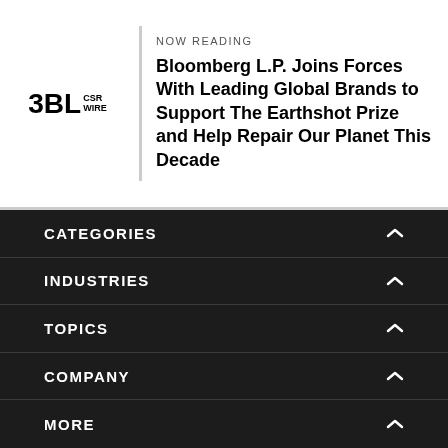3BL CSR WIRE
NOW READING
Bloomberg L.P. Joins Forces With Leading Global Brands to Support The Earthshot Prize and Help Repair Our Planet This Decade
CATEGORIES
INDUSTRIES
TOPICS
COMPANY
MORE